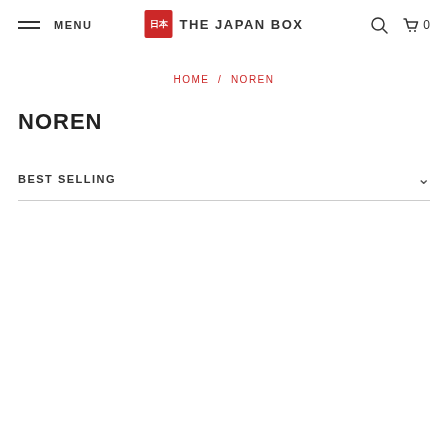MENU | THE JAPAN BOX | 0
HOME / NOREN
NOREN
BEST SELLING